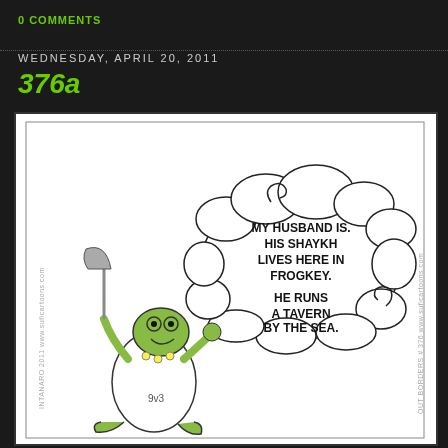0 COMMENTS
WEDNESDAY, APRIL 20, 2011
376a
[Figure (illustration): Cartoon illustration of a frog character dressed in white robes holding an axe/staff, with a thought bubble reading: 'MY HUSBAND IS. HIS SHAYKH LIVES HERE IN FROGKEY. HE RUNS A TAVERN BY THE SEA.' Watermark text on sides: 'www.suficartoons.com' and 'OUT BORDERS #376 www.suficartoons.com' and 'INTANARO 2011']